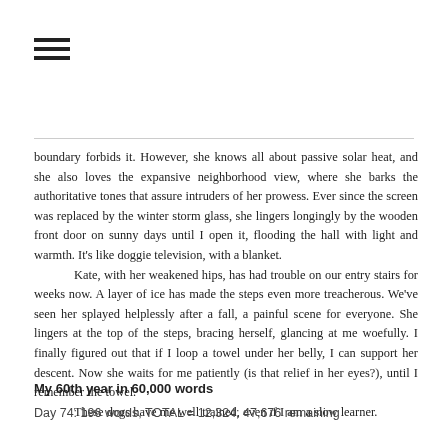[Figure (other): Hamburger menu icon with three horizontal lines]
boundary forbids it. However, she knows all about passive solar heat, and she also loves the expansive neighborhood view, where she barks the authoritative tones that assure intruders of her prowess. Ever since the screen was replaced by the winter storm glass, she lingers longingly by the wooden front door on sunny days until I open it, flooding the hall with light and warmth. It's like doggie television, with a blanket.

Kate, with her weakened hips, has had trouble on our entry stairs for weeks now. A layer of ice has made the steps even more treacherous. We've seen her splayed helplessly after a fall, a painful scene for everyone. She lingers at the top of the steps, bracing herself, glancing at me woefully. I finally figured out that if I loop a towel under her belly, I can support her descent. Now she waits for me patiently (is that relief in her eyes?), until I remember the towel.

These dogs have me well trained, even if I am a slow learner.
My 60th year in 60,000 words
Day 74: 196 words, TOTAL = 12,324; 47,676 remaining